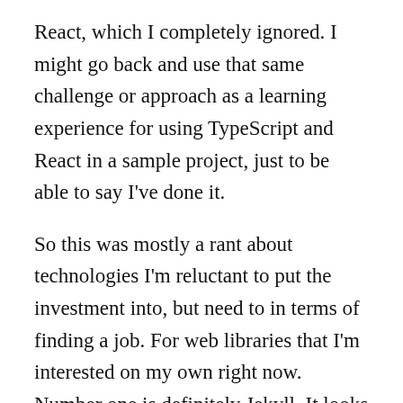React, which I completely ignored. I might go back and use that same challenge or approach as a learning experience for using TypeScript and React in a sample project, just to be able to say I've done it.
So this was mostly a rant about technologies I'm reluctant to put the investment into, but need to in terms of finding a job. For web libraries that I'm interested on my own right now. Number one is definitely Jekyll. It looks like it can be used by Github and Gitlab to generate pages. So if I can use that to manage some